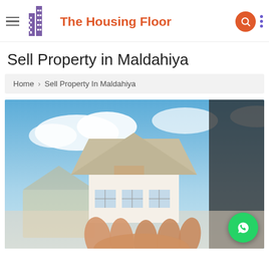The Housing Floor
Sell Property in Maldahiya
Home › Sell Property In Maldahiya
[Figure (photo): A person holding a miniature model house in their palm, with a blurred residential background and blue sky.]